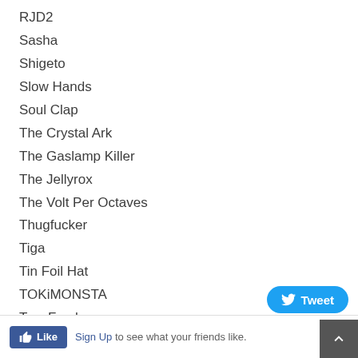RJD2
Sasha
Shigeto
Slow Hands
Soul Clap
The Crystal Ark
The Gaslamp Killer
The Jellyrox
The Volt Per Octaves
Thugfucker
Tiga
Tin Foil Hat
TOKiMONSTA
Two Fresh
Wolf Eyes
YACHT
Tweet  Like  Sign Up to see what your friends like.